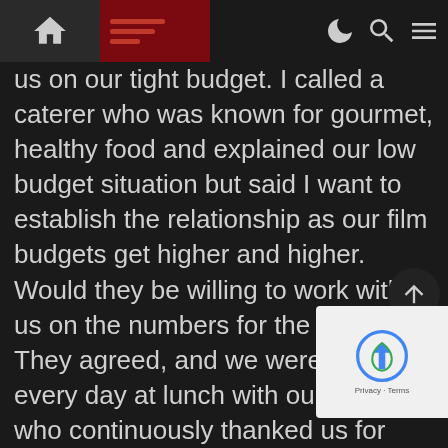[Navigation bar with home icon, menu lines, moon/dark-mode icon, search icon, and lines icon]
us on our tight budget. I called a caterer who was known for gourmet, healthy food and explained our low budget situation but said I want to establish the relationship as our film budgets get higher and higher. Would they be willing to work with us on the numbers for the first film? They agreed, and we were heroes every day at lunch with our crew who continuously thanked us for having good snacks and meals. For $10 a person, they delivered and setup the food. They brought two hot meats and one hot vegetarian option that changed every day as well as a hot side and fresh salad with toppings and homemade dressings. The meal included a dessert, coffee with the fixings and a gourmet lemonade or ice tea. With all of that food, it reduced what we spent in snacks and drinks as well as saved on gas for sending someone out to pick up lunch and losing a production assistant. Our crew worked so much faster and efficient knowing that we also cared enough about them to plan good meals. One of our celebrity actors walked over to the caterer and asked for